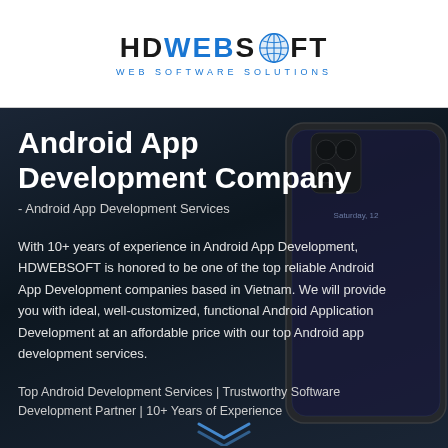[Figure (logo): HDWEBSOFT logo with globe icon and tagline 'WEB SOFTWARE SOLUTIONS' in blue]
Android App Development Company
- Android App Development Services
With 10+ years of experience in Android App Development, HDWEBSOFT is honored to be one of the top reliable Android App Development companies based in Vietnam. We will provide you with ideal, well-customized, functional Android Application Development at an affordable price with our top Android app development services.
Top Android Development Services | Trustworthy Software Development Partner | 10+ Years of Experience